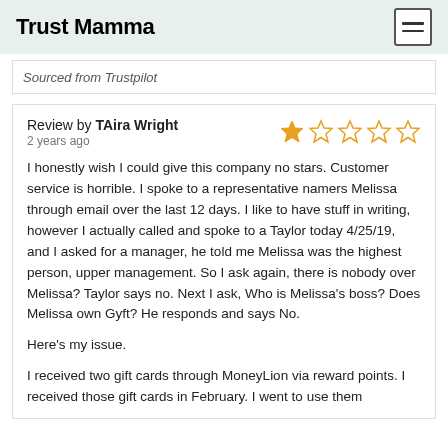Trust Mamma
Sourced from Trustpilot
Review by TAira Wright
2 years ago
I honestly wish I could give this company no stars. Customer service is horrible. I spoke to a representative namers Melissa through email over the last 12 days. I like to have stuff in writing, however I actually called and spoke to a Taylor today 4/25/19, and I asked for a manager, he told me Melissa was the highest person, upper management. So I ask again, there is nobody over Melissa? Taylor says no. Next I ask, Who is Melissa's boss? Does Melissa own Gyft? He responds and says No.

Here's my issue.

I received two gift cards through MoneyLion via reward points. I received those gift cards in February. I went to use them